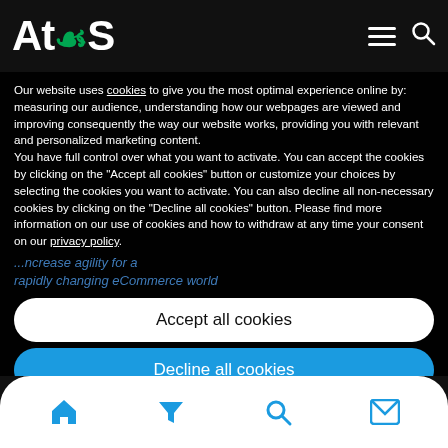Atos
Our website uses cookies to give you the most optimal experience online by: measuring our audience, understanding how our webpages are viewed and improving consequently the way our website works, providing you with relevant and personalized marketing content.
You have full control over what you want to activate. You can accept the cookies by clicking on the "Accept all cookies" button or customize your choices by selecting the cookies you want to activate. You can also decline all non-necessary cookies by clicking on the "Decline all cookies" button. Please find more information on our use of cookies and how to withdraw at any time your consent on our privacy policy.
...increase agility for a rapidly changing eCommerce world
Accept all cookies
Decline all cookies
Customize
Privacy poli...
Home | Filter | Search | Mail